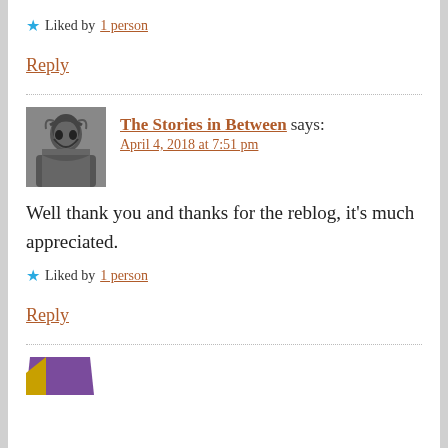★ Liked by 1 person
Reply
The Stories in Between says:
April 4, 2018 at 7:51 pm
Well thank you and thanks for the reblog, it's much appreciated.
★ Liked by 1 person
Reply